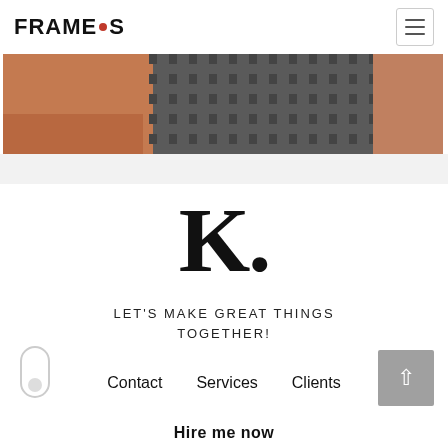FRAME•S
[Figure (photo): Partial view of a person in a checkered jacket against a warm-toned background]
K.
LET'S MAKE GREAT THINGS TOGETHER!
Contact   Services   Clients
Hire me now